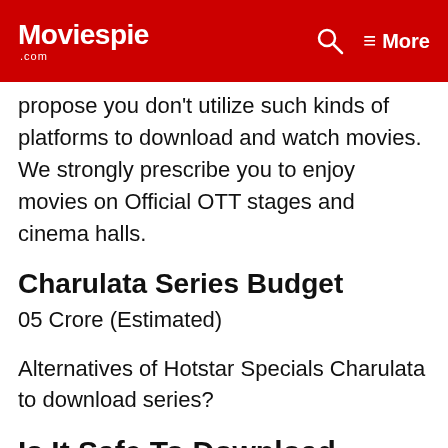Moviespie .com  🔍  ≡ More
propose you don't utilize such kinds of platforms to download and watch movies. We strongly prescribe you to enjoy movies on Official OTT stages and cinema halls.
Charulata Series Budget
05 Crore (Estimated)
Alternatives of Hotstar Specials Charulata to download series?
Is It Safe To Download Charulata Web Series From Pirated Websites?